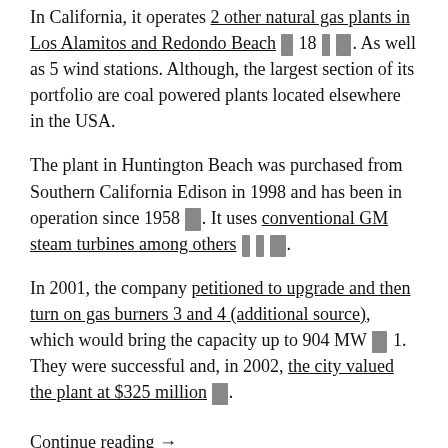In California, it operates 2 other natural gas plants in Los Alamitos and Redondo Beach [redacted] 18 [redacted] [redacted]. As well as 5 wind stations. Although, the largest section of its portfolio are coal powered plants located elsewhere in the USA.
The plant in Huntington Beach was purchased from Southern California Edison in 1998 and has been in operation since 1958 [redacted]. It uses conventional GM steam turbines among others [redacted] [redacted] [redacted].
In 2001, the company petitioned to upgrade and then turn on gas burners 3 and 4 (additional source), which would bring the capacity up to 904 MW [redacted] 1. They were successful and, in 2002, the city valued the plant at $325 million [redacted].
Continue reading →